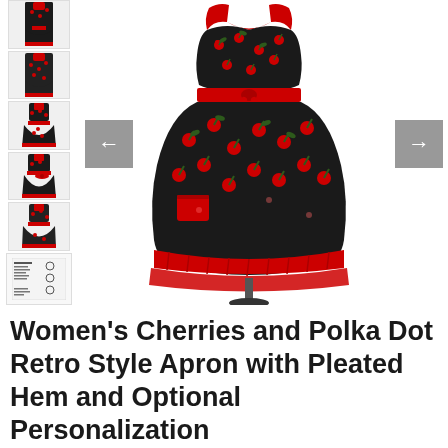[Figure (photo): E-commerce product page showing a Women's Cherries and Polka Dot Retro Style Apron. Main image in center shows a black apron with red and green cherry pattern, red halter neck, red bow waistband, and red pleated hem, displayed on a mannequin. Left side shows a vertical strip of 6 thumbnail images of the same apron from different angles, plus a product spec sheet thumbnail. Left and right navigation arrows are visible.]
Women's Cherries and Polka Dot Retro Style Apron with Pleated Hem and Optional Personalization